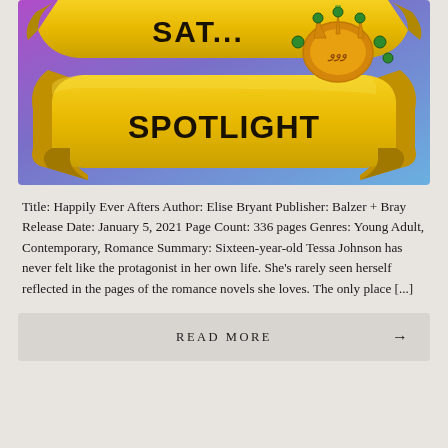[Figure (illustration): Saturday Spotlight banner image with yellow ribbon/scroll showing 'SAT... SPOTLIGHT' text in bold black letters on a purple/blue gradient background, with a golden crown decorated with green gems on the right side.]
Title: Happily Ever Afters Author: Elise Bryant Publisher: Balzer + Bray Release Date: January 5, 2021 Page Count: 336 pages Genres: Young Adult, Contemporary, Romance Summary: Sixteen-year-old Tessa Johnson has never felt like the protagonist in her own life. She's rarely seen herself reflected in the pages of the romance novels she loves. The only place [...]
READ MORE →